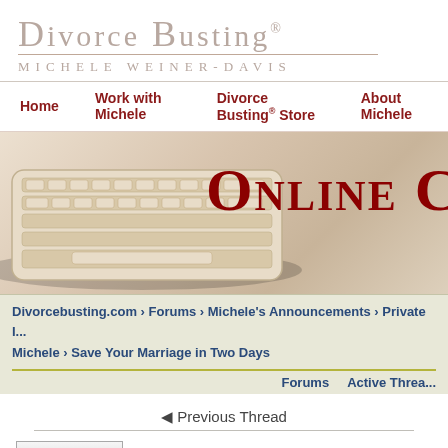Divorce Busting® Michele Weiner-Davis
Home | Work with Michele | Divorce Busting® Store | About Michele
[Figure (screenshot): Banner with keyboard image on left and partial text 'ONLINE C' in dark red on right, warm beige gradient background]
Divorcebusting.com > Forums > Michele's Announcements > Private I... Michele > Save Your Marriage in Two Days
Forums   Active Threa...
◄ Previous Thread
Print Thread